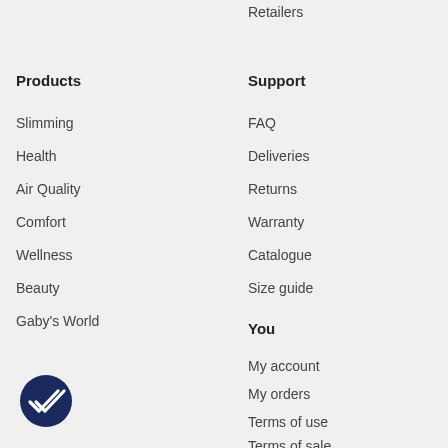Retailers
Products
Slimming
Health
Air Quality
Comfort
Wellness
Beauty
Gaby's World
Support
FAQ
Deliveries
Returns
Warranty
Catalogue
Size guide
You
My account
My orders
Terms of use
Terms of sale
Privacy
[Figure (illustration): Dark blue circle with double checkmark icon]